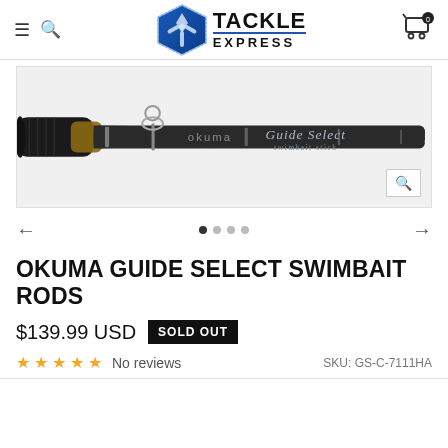Tackle Express
[Figure (photo): Close-up photo of an Okuma Guide Select Swimbait fishing rod showing the rod blank with 'okuma Guide Select swimbait stick' text printed on it.]
OKUMA GUIDE SELECT SWIMBAIT RODS
$139.99 USD   SOLD OUT
★★★★★ No reviews   SKU: GS-C-7111HA